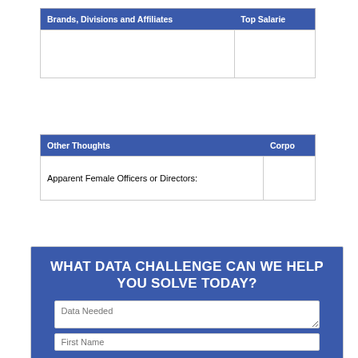| Brands, Divisions and Affiliates | Top Salarie |
| --- | --- |
|  |  |
| Other Thoughts | Corpo |
| --- | --- |
| Apparent Female Officers or Directors: |  |
[Figure (infographic): Call-to-action box with blue background. Title: 'WHAT DATA CHALLENGE CAN WE HELP YOU SOLVE TODAY?' followed by a textarea labeled 'Data Needed' and an input labeled 'First Name'.]